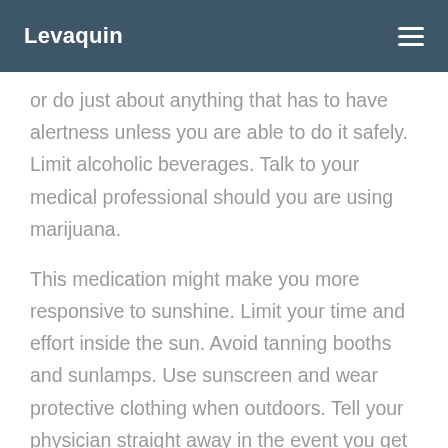Levaquin
or do just about anything that has to have alertness unless you are able to do it safely. Limit alcoholic beverages. Talk to your medical professional should you are using marijuana.
This medication might make you more responsive to sunshine. Limit your time and effort inside the sun. Avoid tanning booths and sunlamps. Use sunscreen and wear protective clothing when outdoors. Tell your physician straight away in the event you get